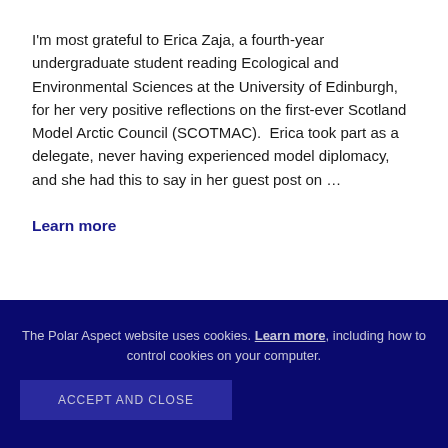I'm most grateful to Erica Zaja, a fourth-year undergraduate student reading Ecological and Environmental Sciences at the University of Edinburgh, for her very positive reflections on the first-ever Scotland Model Arctic Council (SCOTMAC).  Erica took part as a delegate, never having experienced model diplomacy, and she had this to say in her guest post on …
Learn more
The Polar Aspect website uses cookies. Learn more, including how to control cookies on your computer. ACCEPT AND CLOSE